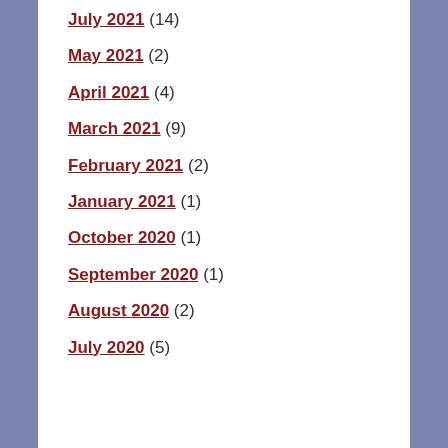July 2021 (14)
May 2021 (2)
April 2021 (4)
March 2021 (9)
February 2021 (2)
January 2021 (1)
October 2020 (1)
September 2020 (1)
August 2020 (2)
July 2020 (5)